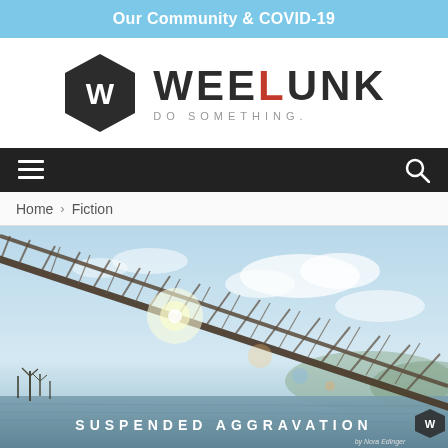Our Community & COVID-19
[Figure (logo): Weelunk logo: dark hexagon with W, and text WEELUNK DO SOMETHING.]
[Figure (other): Navigation bar with hamburger menu on left and search icon on right, dark background]
Home > Fiction
[Figure (photo): Photograph of a suspension bridge from below, with bright sky and sun flare. Text overlay reads SUSPENDED AGGRAVATION by Nora Edinger. Small Weelunk hexagon logo in bottom right corner.]